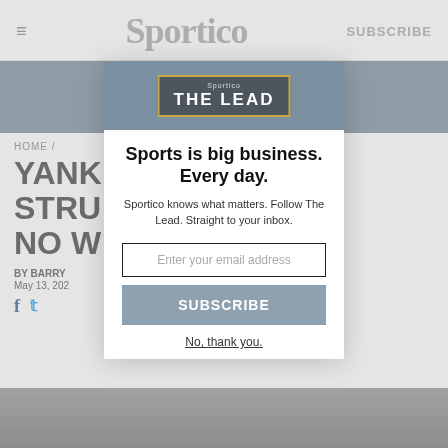≡  Sportico  SUBSCRIBE
[Figure (screenshot): Sportico 'The Lead' newsletter banner image with gold border and dark background]
HOME /
YANK STRU NO W
BY BARRY
May 13, 202
[Figure (other): Email subscription modal popup for Sportico 'The Lead' newsletter with headline 'Sports is big business. Every day.', email input field, SUBSCRIBE button, and 'No, thank you.' link]
[Figure (photo): Bottom portion of a grayscale sports photo, partially visible behind modal]